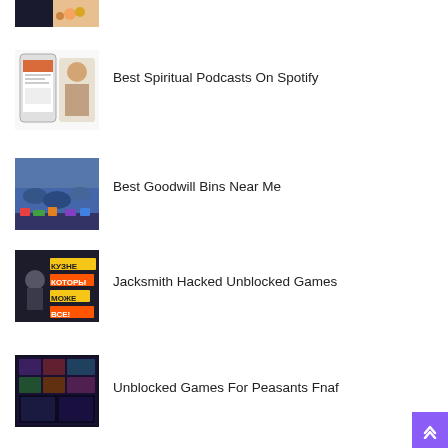[Figure (photo): Partial thumbnail at top, showing small toy-like figures on a dark background — cropped, top item]
[Figure (photo): Thumbnail showing a smartphone with podcast app UI and a woman's portrait — Best Spiritual Podcasts On Spotify]
Best Spiritual Podcasts On Spotify
[Figure (photo): Thumbnail showing people browsing bins at a Goodwill store — Best Goodwill Bins Near Me]
Best Goodwill Bins Near Me
[Figure (photo): Thumbnail showing Jacksmith game character with Cyrillic text — Jacksmith Hacked Unblocked Games]
Jacksmith Hacked Unblocked Games
[Figure (photo): Thumbnail showing game screen — Unblocked Games For Peasants Fnaf]
Unblocked Games For Peasants Fnaf